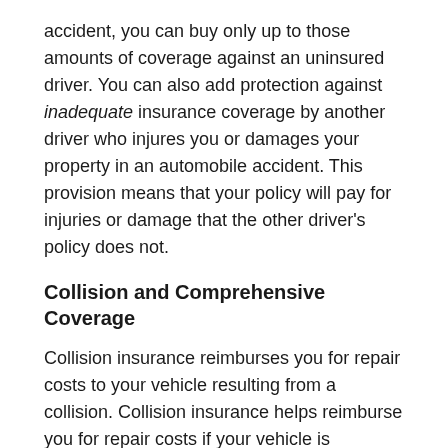accident, you can buy only up to those amounts of coverage against an uninsured driver. You can also add protection against inadequate insurance coverage by another driver who injures you or damages your property in an automobile accident. This provision means that your policy will pay for injuries or damage that the other driver's policy does not.
Collision and Comprehensive Coverage
Collision insurance reimburses you for repair costs to your vehicle resulting from a collision. Collision insurance helps reimburse you for repair costs if your vehicle is damaged in an accident or collision. This coverage is usually the most expensive. Comprehensive coverage helps pay for damage due to fire, storm, vandalism, or theft. If a lender holds a lien on your car, the lender will probably require you to pay for both collision and comprehensive insurance. To lower the cost of this kind of insurance, you may choose a higher deductible. Although this increases